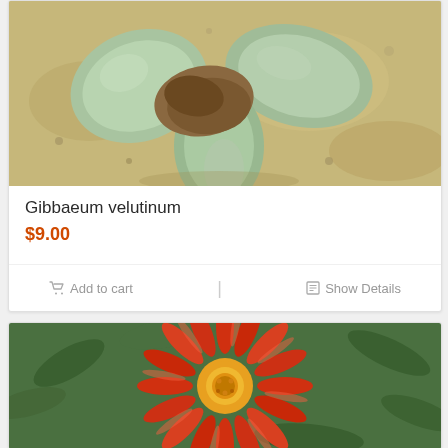[Figure (photo): Close-up photograph of Gibbaeum velutinum succulent plant with thick grey-green leaves growing in sandy/rocky soil]
Gibbaeum velutinum
$9.00
Add to cart
Show Details
[Figure (photo): Close-up photograph of an orange/red daisy-like flower with yellow center, with green succulent leaves in background]